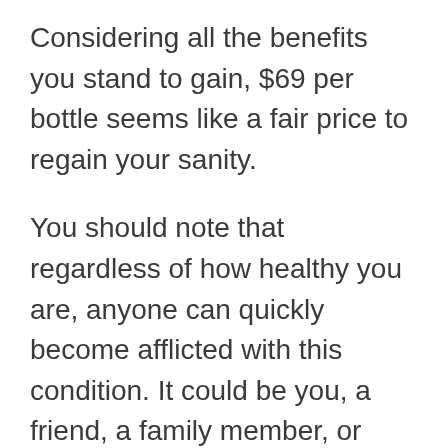Considering all the benefits you stand to gain, $69 per bottle seems like a fair price to regain your sanity.
You should note that regardless of how healthy you are, anyone can quickly become afflicted with this condition. It could be you, a friend, a family member, or even someone you know from work.
You have a chance to protect